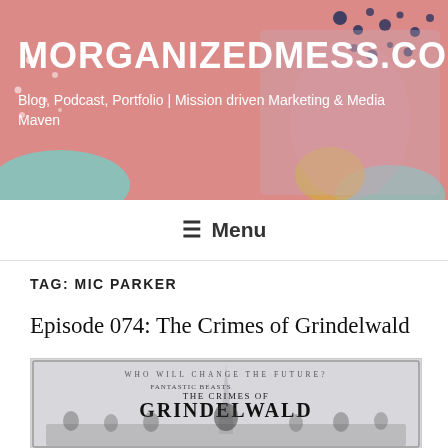MORGANIZEDMESS.COM
Blog, Podcast, Portfolio | Mission driven Marketing & Media Maven
[Figure (screenshot): Website header banner with pink/coral background, decorative dots and circles, woman with flowers in background. Site title MORGANIZEDMESS.COM and tagline visible.]
≡ Menu
TAG: MIC PARKER
Episode 074: The Crimes of Grindelwald
[Figure (photo): Fantastic Beasts: The Crimes of Grindelwald movie poster showing characters standing before the Eiffel Tower with text 'WHO WILL CHANGE THE FUTURE?']